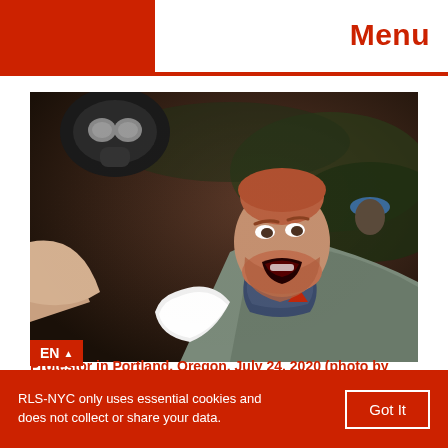Menu
[Figure (photo): A protestor in Portland, Oregon, July 24, 2020, with mouth open, wearing a patterned neck gaiter and vest, being attended by someone holding a white cloth, with a gas mask visible in the upper left and other people in the background.]
EN ▲ Protestor in Portland, Oregon, July 24, 2020 (photo by
RLS-NYC only uses essential cookies and does not collect or share your data.
Got It